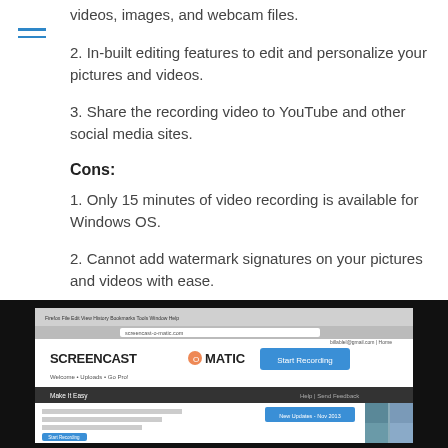videos, images, and webcam files.
2. In-built editing features to edit and personalize your pictures and videos.
3. Share the recording video to YouTube and other social media sites.
Cons:
1. Only 15 minutes of video recording is available for Windows OS.
2. Cannot add watermark signatures on your pictures and videos with ease.
[Figure (screenshot): Screenshot of the Screencast-O-Matic website showing the Start Recording button and navigation menu.]